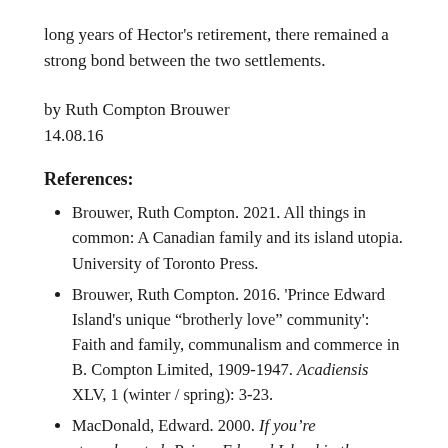long years of Hector's retirement, there remained a strong bond between the two settlements.
by Ruth Compton Brouwer
14.08.16
References:
Brouwer, Ruth Compton. 2021. All things in common: A Canadian family and its island utopia. University of Toronto Press.
Brouwer, Ruth Compton. 2016. 'Prince Edward Island's unique “brotherly love” community': Faith and family, communalism and commerce in B. Compton Limited, 1909-1947. Acadiensis XLV, 1 (winter / spring): 3-23.
MacDonald, Edward. 2000. If you’re stronghearted: Prince Edward Island in the